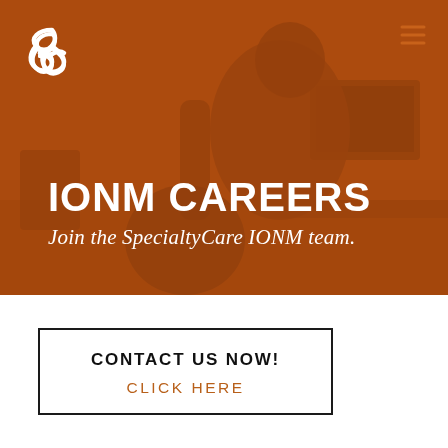[Figure (photo): Hero background photo of a medical professional in surgical attire (mask, gown) working at a monitoring station with screens, overlaid with an amber/orange color wash. SpecialtyCare logo (white infinity/pretzel knot icon) in top-left corner. Hamburger menu icon in top-right corner.]
IONM CAREERS
Join the SpecialtyCare IONM team.
CONTACT US NOW!
CLICK HERE